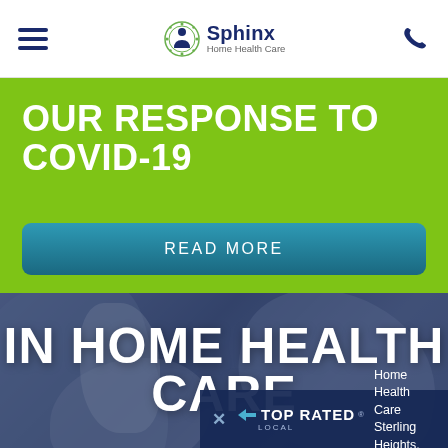Sphinx Home Health Care — navigation header with hamburger menu and phone icon
OUR RESPONSE TO COVID-19
READ MORE
[Figure (photo): Background photo of a healthcare worker's hands, overlaid with blue tint, with large text 'IN HOME HEALTH CARE']
IN HOME HEALTH CARE
× TOP RATED LOCAL — Home Health Care Sterling Heights, MI.